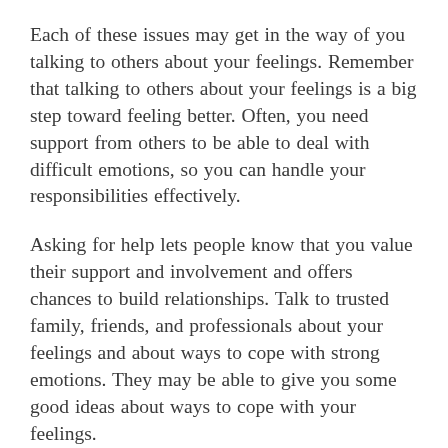Each of these issues may get in the way of you talking to others about your feelings. Remember that talking to others about your feelings is a big step toward feeling better. Often, you need support from others to be able to deal with difficult emotions, so you can handle your responsibilities effectively.
Asking for help lets people know that you value their support and involvement and offers chances to build relationships. Talk to trusted family, friends, and professionals about your feelings and about ways to cope with strong emotions. They may be able to give you some good ideas about ways to cope with your feelings.
We've talked to lots of survivors and their families to find out ways they cope with strong feelings. Here are a few strategies that have worked for other